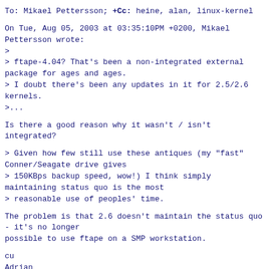To: Mikael Pettersson; +Cc: heine, alan, linux-kernel
On Tue, Aug 05, 2003 at 03:35:10PM +0200, Mikael Pettersson wrote:
>
> ftape-4.04? That's been a non-integrated external package for ages and ages.
> I doubt there's been any updates in it for 2.5/2.6 kernels.
>...
Is there a good reason why it wasn't / isn't integrated?
> Given how few still use these antiques (my "fast" Conner/Seagate drive gives
> 150KBps backup speed, wow!) I think simply maintaining status quo is the most
> reasonable use of peoples' time.
The problem is that 2.6 doesn't maintain the status quo - it's no longer possible to use ftape on a SMP workstation.
cu
Adrian
--
"Is there not promise of rain?" Ling Tan asked